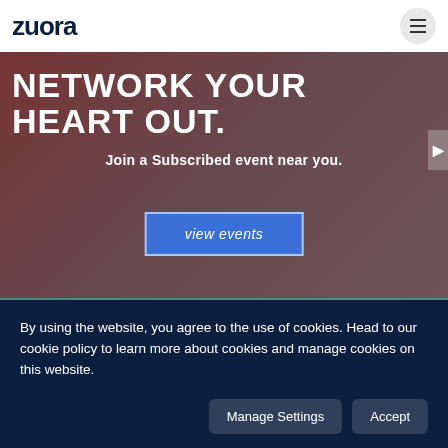zuora
NETWORK YOUR HEART OUT.
Join a Subscribed event near you.
view events
[Figure (photo): Background photo of people networking at an event, with a reddish-dark overlay in the upper section and a dark greenish overlay in the lower section]
By using the website, you agree to the use of cookies. Head to our cookie policy to learn more about cookies and manage cookies on this website.
Manage Settings
Accept